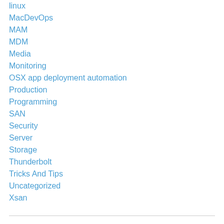linux
MacDevOps
MAM
MDM
Media
Monitoring
OSX app deployment automation
Production
Programming
SAN
Security
Server
Storage
Thunderbolt
Tricks And Tips
Uncategorized
Xsan